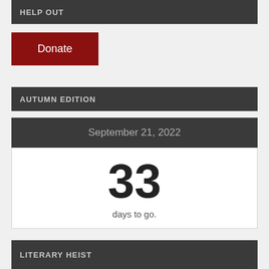HELP OUT
Donate
AUTUMN EDITION
[Figure (other): Countdown calendar widget showing September 21, 2022 with 33 days to go.]
LITERARY HEIST